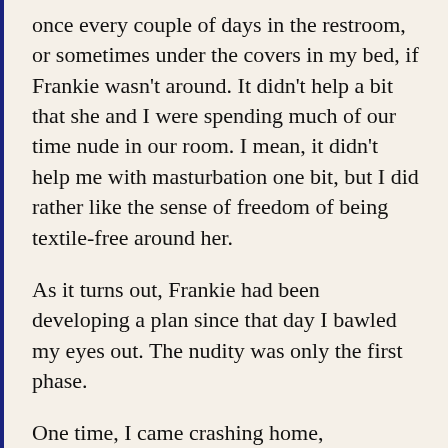once every couple of days in the restroom, or sometimes under the covers in my bed, if Frankie wasn't around. It didn't help a bit that she and I were spending much of our time nude in our room. I mean, it didn't help me with masturbation one bit, but I did rather like the sense of freedom of being textile-free around her.
As it turns out, Frankie had been developing a plan since that day I bawled my eyes out. The nudity was only the first phase.
One time, I came crashing home, enthusiastically throwing the door open, almost Frankie style, after a particularly interesting lecture. I probably should have knocked or something, because I interrupted something from a previous page that continues...